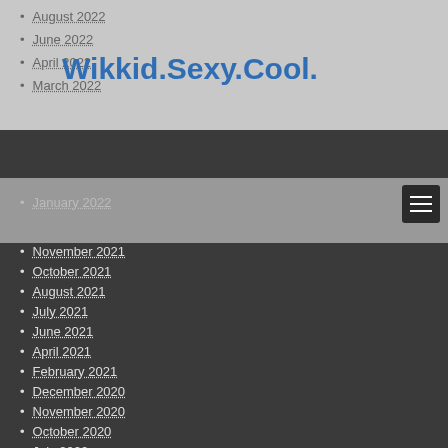August 2022
June 2022
April 2022
Wikkid.Sexy.Cool.
March 2022
January 2022
November 2021
October 2021
August 2021
July 2021
June 2021
April 2021
February 2021
December 2020
November 2020
October 2020
July 2020
May 2020
April 2020
March 2020
February 2020
January 2020
December 2019